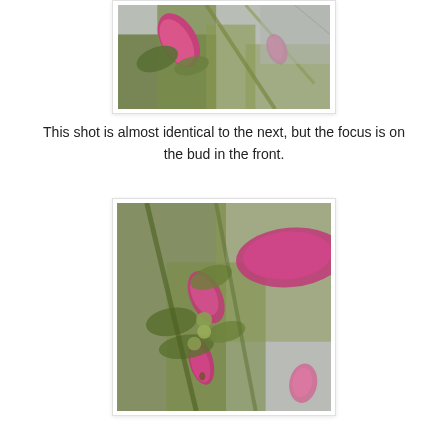[Figure (photo): Close-up photo of pink flower buds on green stems against a gray background, with a prominent pink bud on the left and a smaller bud visible on the right.]
This shot is almost identical to the next, but the focus is on the bud in the front.
[Figure (photo): Close-up photo of pink Christmas cactus flower buds on green segmented stems, with a large blurred magenta bud in the upper right and several smaller pink buds and a pointed magenta bud in the lower center.]